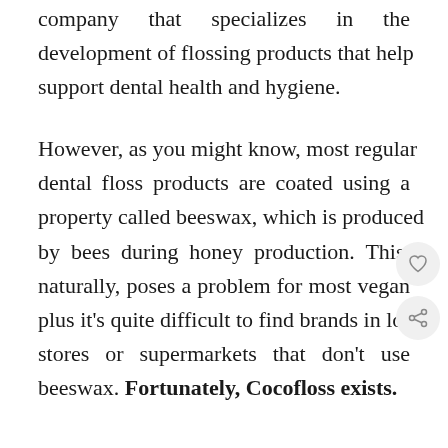company that specializes in the development of flossing products that help support dental health and hygiene.
However, as you might know, most regular dental floss products are coated using a property called beeswax, which is produced by bees during honey production. This, naturally, poses a problem for most vegans, plus it's quite difficult to find brands in local stores or supermarkets that don't use beeswax. Fortunately, Cocofloss exists.